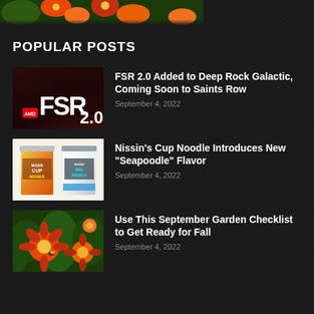[Figure (photo): Partial image of orange and red flowers visible at top of page]
POPULAR POSTS
[Figure (photo): AMD FSR 2.0 logo on dark red background]
FSR 2.0 Added to Deep Rock Galactic, Coming Soon to Saints Row
September 4, 2022
[Figure (photo): Two Nissin Cup Noodle cups - regular and Seapoodle flavor]
Nissin's Cup Noodle Introduces New "Seapoodle" Flavor
September 4, 2022
[Figure (photo): Close-up of orange and red flowers in a garden]
Use This September Garden Checklist to Get Ready for Fall
September 4, 2022